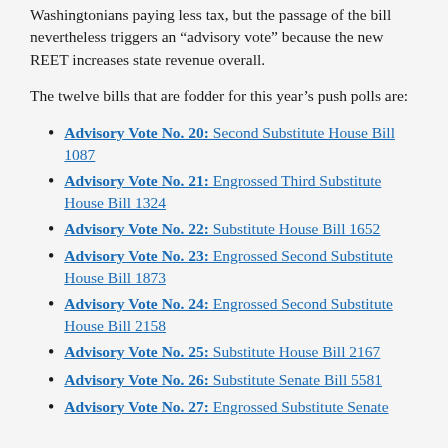Washingtonians paying less tax, but the passage of the bill nevertheless triggers an “advisory vote” because the new REET increases state revenue overall.
The twelve bills that are fodder for this year’s push polls are:
Advisory Vote No. 20: Second Substitute House Bill 1087
Advisory Vote No. 21: Engrossed Third Substitute House Bill 1324
Advisory Vote No. 22: Substitute House Bill 1652
Advisory Vote No. 23: Engrossed Second Substitute House Bill 1873
Advisory Vote No. 24: Engrossed Second Substitute House Bill 2158
Advisory Vote No. 25: Substitute House Bill 2167
Advisory Vote No. 26: Substitute Senate Bill 5581
Advisory Vote No. 27: Engrossed Substitute Senate